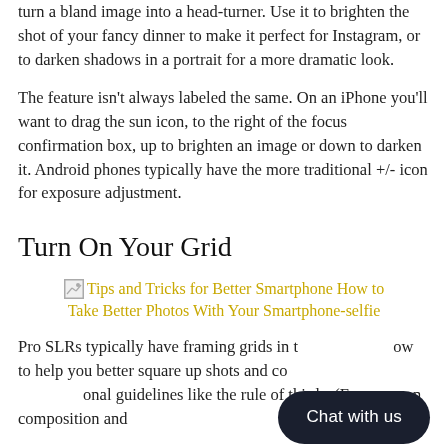turn a bland image into a head-turner. Use it to brighten the shot of your fancy dinner to make it perfect for Instagram, or to darken shadows in a portrait for a more dramatic look.
The feature isn't always labeled the same. On an iPhone you'll want to drag the sun icon, to the right of the focus confirmation box, up to brighten an image or down to darken it. Android phones typically have the more traditional +/- icon for exposure adjustment.
Turn On Your Grid
[Figure (illustration): Broken image placeholder with link text: Tips and Tricks for Better Smartphone How to Take Better Photos With Your Smartphone-selfie]
Pro SLRs typically have framing grids in the viewfinder to help you better square up shots and conform to compositional guidelines like the rule of thirds. (For more on composition and